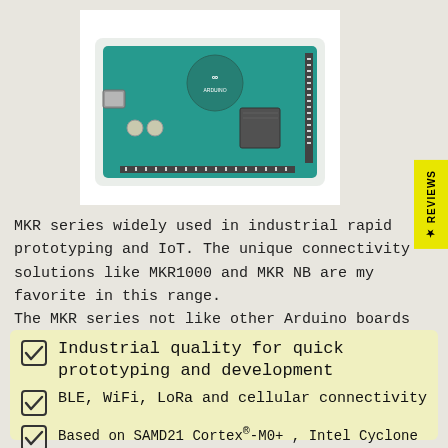[Figure (photo): Arduino MKR series board in a transparent acrylic case, showing the green circuit board with USB port, microcontroller, and pin headers.]
MKR series widely used in industrial rapid prototyping and IoT. The unique connectivity solutions like MKR1000 and MKR NB are my favorite in this range.
The MKR series not like other Arduino boards which also have rich ecosystem of shields and carrier boards.
Industrial quality for quick prototyping and development
BLE, WiFi, LoRa and cellular connectivity
Based on SAMD21 Cortex®-M0+ , Intel Cyclone